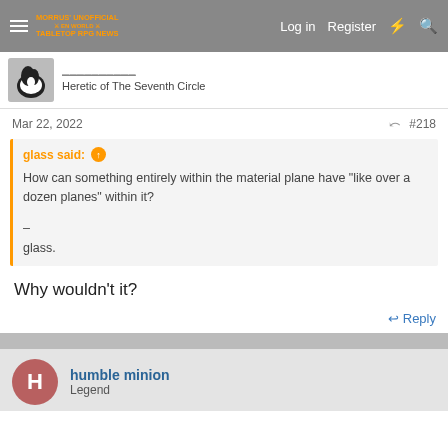Morrus' Unofficial Tabletop RPG News — Log in  Register
Heretic of The Seventh Circle
Mar 22, 2022  #218
glass said: ↑
How can something entirely within the material plane have "like over a dozen planes" within it?
–
glass.
Why wouldn't it?
Reply
humble minion
Legend